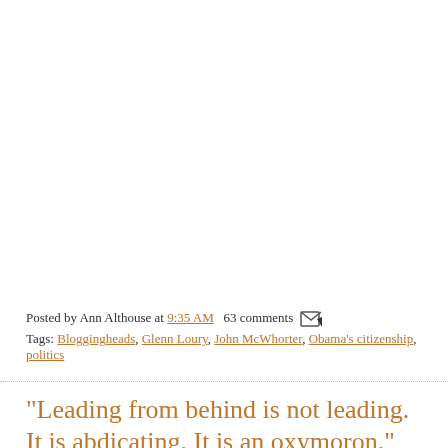Posted by Ann Althouse at 9:35 AM  63 comments
Tags: Bloggingheads, Glenn Loury, John McWhorter, Obama's citizenship, politics
"Leading from behind is not leading. It is abdicating. It is an oxymoron."
"Yet a sympathetic journalist, channeling an Obama adviser, elevates it to a doctrine. The president is no doubt flattered. The rest of us are merely stunned."
Posted by Ann Althouse at 9:28 AM  44 comments
Tags: Krauthammer, Libya, Obama and foreign policy, Obama and the mi...